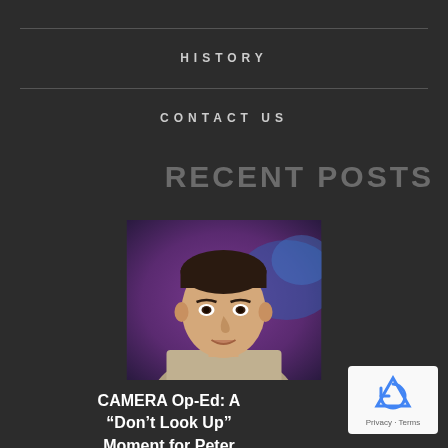HISTORY
CONTACT US
RECENT POSTS
[Figure (photo): Headshot of a young man in a suit jacket against a blurred purple and blue background]
CAMERA Op-Ed: A “Don’t Look Up” Moment for Peter Beinart et al. on Antisemitism